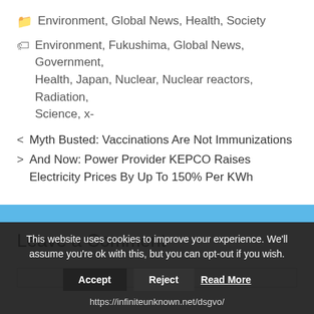Environment, Global News, Health, Society
Environment, Fukushima, Global News, Government, Health, Japan, Nuclear, Nuclear reactors, Radiation, Science, x-
< Myth Busted: Vaccinations Are Not Immunizations
> And Now: Power Provider KEPCO Raises Electricity Prices By Up To 150% Per KWh
Leave a Comment
This website uses cookies to improve your experience. We'll assume you're ok with this, but you can opt-out if you wish.
Accept  Reject  Read More
https://infiniteunknown.net/dsgvo/